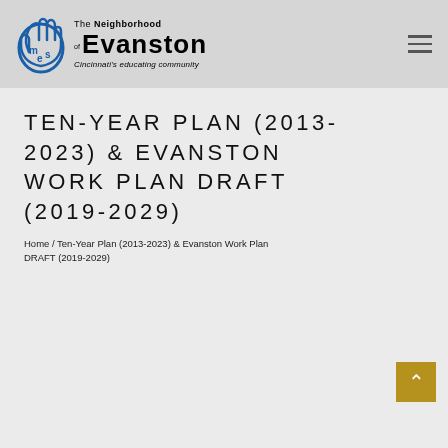[Figure (logo): The Neighborhood of Evanston logo with hand icon and text 'Cincinnati's educating community']
TEN-YEAR PLAN (2013-2023) & EVANSTON WORK PLAN DRAFT (2019-2029)
Home / Ten-Year Plan (2013-2023) & Evanston Work Plan DRAFT (2019-2029)